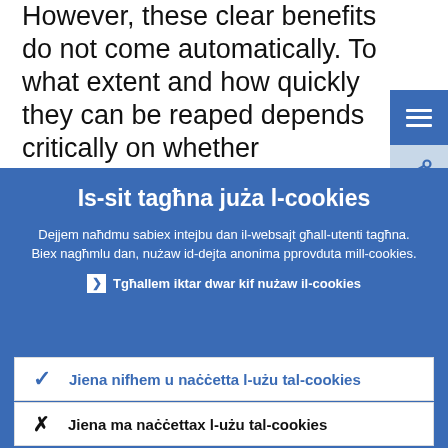However, these clear benefits do not come automatically. To what extent and how quickly they can be reaped depends critically on whether macroeconomic conditions are stable and the extent to
Is-sit tagħna juża l-cookies
Dejjem naħdmu sabiex intejbu dan il-websajt għall-utenti tagħna. Biex nagħmlu dan, nużaw id-dejta anonima pprovduta mill-cookies.
❯ Tgħallem iktar dwar kif nużaw il-cookies
✓ Jiena nifhem u naċċetta l-użu tal-cookies
✗ Jiena ma naċċettax l-użu tal-cookies